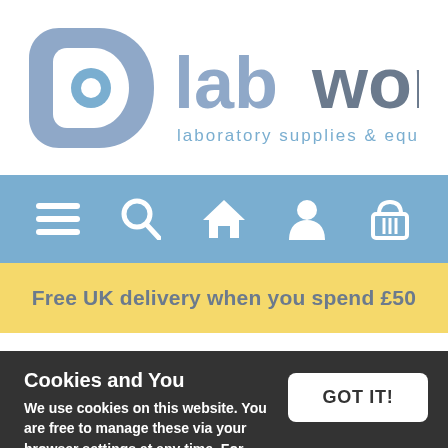[Figure (logo): Labworld logo — grey D-ring icon with blue circle, followed by 'labworld' in grey sans-serif text and 'laboratory supplies & equipment' subtitle in light blue]
[Figure (infographic): Light blue navigation bar with 5 white icons: hamburger menu, search (magnifier), home (house), account (person), and basket (shopping basket)]
Free UK delivery when you spend £50
Cookies and You
We use cookies on this website. You are free to manage these via your browser settings at any time. For more about how we use cookies, please see our Cookie Policy.